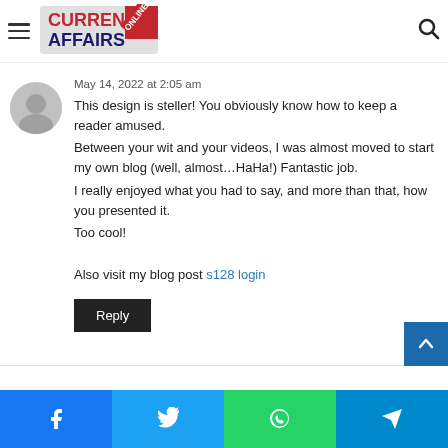Current Affairs Online
May 14, 2022 at 2:05 am
This design is steller! You obviously know how to keep a reader amused.
Between your wit and your videos, I was almost moved to start my own blog (well, almost...HaHa!) Fantastic job.
I really enjoyed what you had to say, and more than that, how you presented it.
Too cool!

Also visit my blog post s128 login
Reply